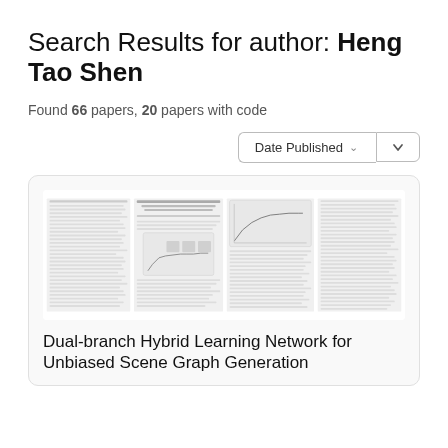Search Results for author: Heng Tao Shen
Found 66 papers, 20 papers with code
[Figure (screenshot): Sort dropdown button showing 'Date Published' with chevron arrow]
[Figure (screenshot): Thumbnail preview of paper 'Dual-branch Hybrid Learning Network for Unbiased Scene Graph Generation' showing a multi-column academic paper layout with figures and text]
Dual-branch Hybrid Learning Network for Unbiased Scene Graph Generation